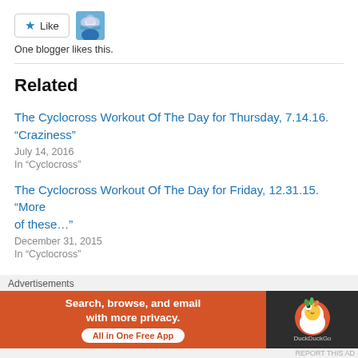[Figure (other): Like button with star icon and blogger avatar thumbnail]
One blogger likes this.
Related
The Cyclocross Workout Of The Day for Thursday, 7.14.16. “Craziness”
July 14, 2016
In “Cyclocross”
The Cyclocross Workout Of The Day for Friday, 12.31.15. “More of these…”
December 31, 2015
In “Cyclocross”
The cyclocross workout of the day for wednesday 8.16.17. “Having it both ways”
Advertisements
[Figure (other): DuckDuckGo advertisement banner: Search, browse, and email with more privacy. All in One Free App]